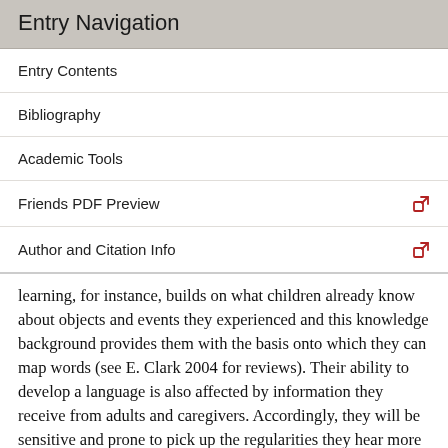Entry Navigation
Entry Contents
Bibliography
Academic Tools
Friends PDF Preview
Author and Citation Info
learning, for instance, builds on what children already know about objects and events they experienced and this knowledge background provides them with the basis onto which they can map words (see E. Clark 2004 for reviews). Their ability to develop a language is also affected by information they receive from adults and caregivers. Accordingly, they will be sensitive and prone to pick up the regularities they hear more often, such as frequent words, sounds, inflections and grammar constructions (Saffran et alia 1996; De Villiers 1985). Also social interactions appear to be crucial to the process